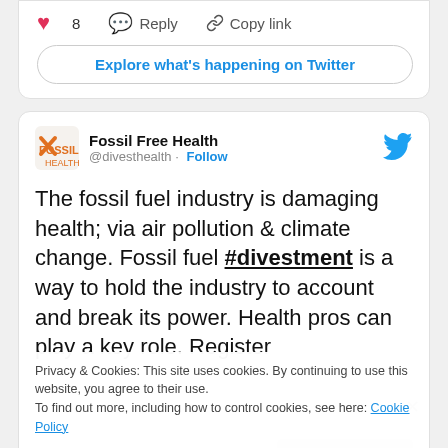[Figure (screenshot): Top card with heart (8 likes), Reply button, Copy link button, and Explore what's happening on Twitter button]
8
Reply
Copy link
Explore what's happening on Twitter
[Figure (screenshot): Tweet from Fossil Free Health (@divesthealth) with Follow link and Twitter bird logo]
Fossil Free Health
@divesthealth · Follow
The fossil fuel industry is damaging health; via air pollution & climate change. Fossil fuel #divestment is a way to hold the industry to account and break its power. Health pros can play a key role. Register
Privacy & Cookies: This site uses cookies. By continuing to use this website, you agree to their use.
To find out more, including how to control cookies, see here: Cookie Policy
Close and accept